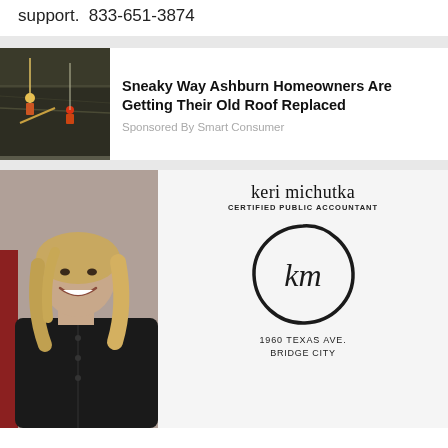support.  833-651-3874
[Figure (photo): Roofing workers on a dark roof, aerial view, with ropes and tools visible]
Sneaky Way Ashburn Homeowners Are Getting Their Old Roof Replaced
Sponsored By Smart Consumer
[Figure (photo): Keri Michutka, Certified Public Accountant advertisement. Shows a smiling blonde woman in a black outfit next to a sign with her name, 'keri michutka', 'CERTIFIED PUBLIC ACCOUNTANT', a circular 'km' logo, and address '1960 TEXAS AVE., BRIDGE CITY']